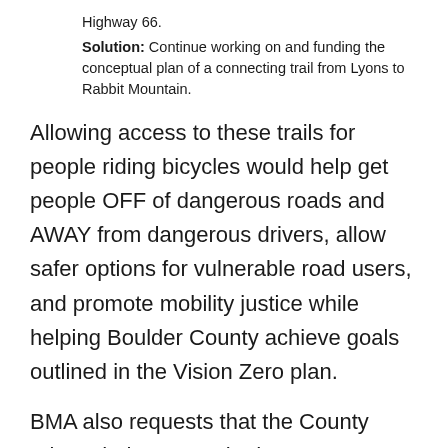Highway 66.
Solution: Continue working on and funding the conceptual plan of a connecting trail from Lyons to Rabbit Mountain.
Allowing access to these trails for people riding bicycles would help get people OFF of dangerous roads and AWAY from dangerous drivers, allow safer options for vulnerable road users, and promote mobility justice while helping Boulder County achieve goals outlined in the Vision Zero plan.
BMA also requests that the County relaunch the currently-dormant Regional Mountain Trails initiative that was started in 2012 and